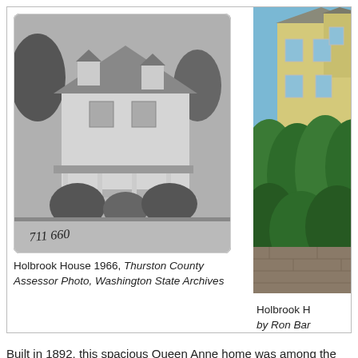[Figure (photo): Black and white historic photo of Holbrook House from 1966, a two-story Queen Anne home with front porch, surrounded by shrubs, with handwritten '711 660' in lower left corner.]
Holbrook House 1966, Thurston County Assessor Photo, Washington State Archives
[Figure (photo): Color photo of Holbrook House, a Victorian-style yellow house partially visible behind dense green hedges. Photo by Ron Bar[nes or similar].]
Holbrook H... by Ron Bar...
Built in 1892, this spacious Queen Anne home was among the first in West Olympia, and sat above the Percival Mansion to the [south/east]. It was owned by Dr. Holbrook for many years. It retains most of the original features, including a large, landscaped lot and many of the interior h[ardware] as well.